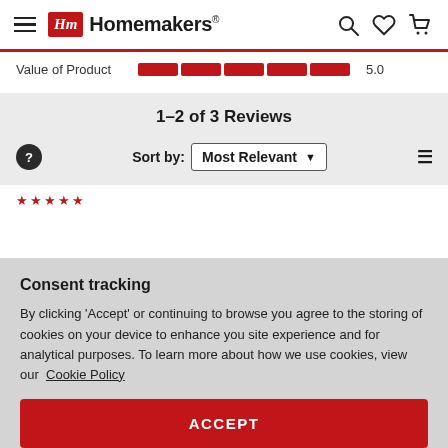[Figure (logo): Homemakers logo with Hm red box and brand name]
Value of Product   5.0
1–2 of 3 Reviews
Sort by: Most Relevant
Consent tracking
By clicking 'Accept' or continuing to browse you agree to the storing of cookies on your device to enhance you site experience and for analytical purposes. To learn more about how we use cookies, view our Cookie Policy
ACCEPT